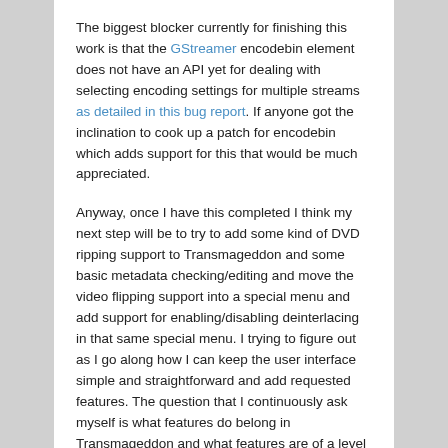The biggest blocker currently for finishing this work is that the GStreamer encodebin element does not have an API yet for dealing with selecting encoding settings for multiple streams as detailed in this bug report. If anyone got the inclination to cook up a patch for encodebin which adds support for this that would be much appreciated.
Anyway, once I have this completed I think my next step will be to try to add some kind of DVD ripping support to Transmageddon and some basic metadata checking/editing and move the video flipping support into a special menu and add support for enabling/disabling deinterlacing in that same special menu. I trying to figure out as I go along how I can keep the user interface simple and straightforward and add requested features. The question that I continuously ask myself is what features do belong in Transmageddon and what features are of a level where people should go to something like PiTiVi instead.
Posted in Fedora, GNOME, GStreamer, Red Hat, Transmageddon